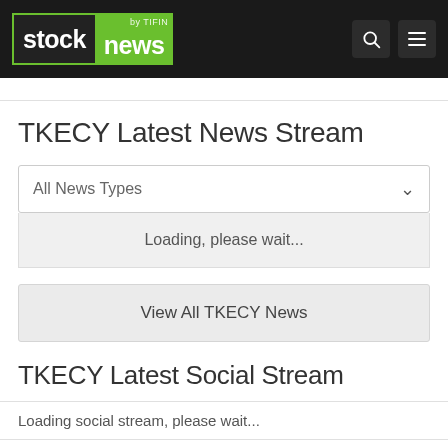stock news by TIFIN
TKECY Latest News Stream
All News Types
Loading, please wait...
View All TKECY News
TKECY Latest Social Stream
Loading social stream, please wait...